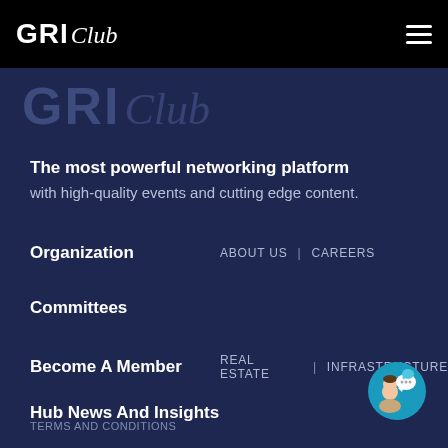GRI Club
[Figure (logo): GRI Club watermark logo in dark blue background]
The most powerful networking platform
with high-quality events and cutting edge content.
Organization    ABOUT US  |  CAREERS
Committees
Become A Member    REAL ESTATE  |  INFRASTRUCTURE
Hub News And Insights
Contact
TERMS AND CONDITIONS